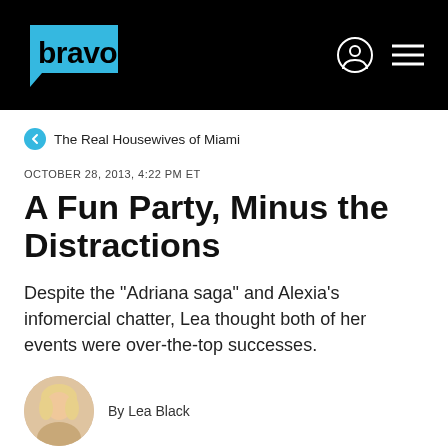bravo
The Real Housewives of Miami
OCTOBER 28, 2013, 4:22 PM ET
A Fun Party, Minus the Distractions
Despite the "Adriana saga" and Alexia's infomercial chatter, Lea thought both of her events were over-the-top successes.
By Lea Black